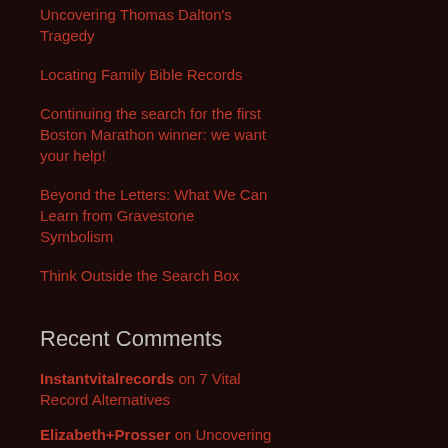Uncovering Thomas Dalton's Tragedy
Locating Family Bible Records
Continuing the search for the first Boston Marathon winner: we want your help!
Beyond the Letters: What We Can Learn from Gravestone Symbolism
Think Outside the Search Box
Recent Comments
Instantvitalrecords on 7 Vital Record Alternatives
Elizabeth+Prosser on Uncovering Thomas Dalton's Tragedy